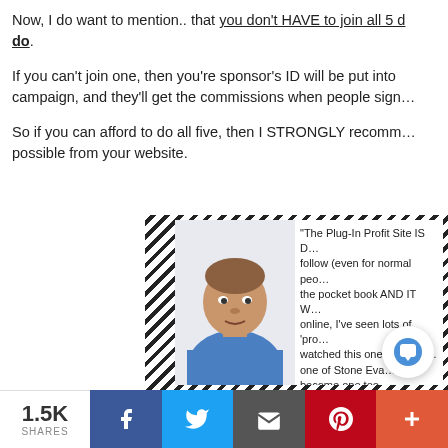Now, I do want to mention.. that you don't HAVE to join all 5 d… do.
If you can't join one, then you're sponsor's ID will be put into campaign, and they'll get the commissions when people sign…
So if you can afford to do all five, then I STRONGLY recomm… possible from your website.
[Figure (photo): Headshot of a man in a blue shirt with hatched border frame on the left side, and a testimonial quote to the right: 'The Plug-In Profit Site IS D… follow (even for normal peo… the pocket book AND IT W… online, I've seen lots of 'pro… watched this one st--d the… one of Stone Eva… by… become one too.']
1.5K SHARES | Facebook | Twitter | Email | Pinterest | Plus